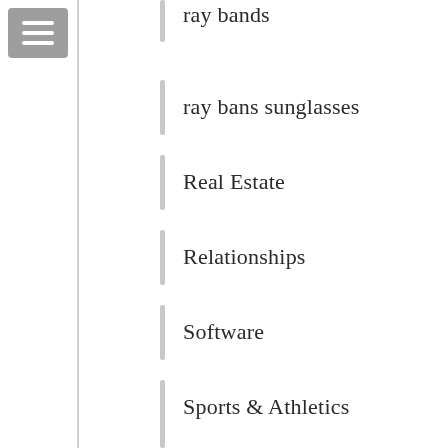[Figure (other): Hamburger menu button (three horizontal lines on grey background)]
ray bands
ray bans sunglasses
Real Estate
Relationships
Software
Sports & Athletics
sunglasses ray ban
Technology
Travel